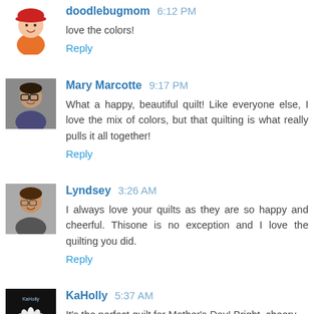[Figure (illustration): Avatar icon of doodlebugmom - cartoon girl with red hat]
doodlebugmom 6:12 PM
love the colors!
Reply
[Figure (photo): Avatar photo of Mary Marcotte - woman with glasses]
Mary Marcotte 9:17 PM
What a happy, beautiful quilt! Like everyone else, I love the mix of colors, but that quilting is what really pulls it all together!
Reply
[Figure (photo): Avatar photo of Lyndsey - woman smiling]
Lyndsey 3:26 AM
I always love your quilts as they are so happy and cheerful. Thisone is no exception and I love the quilting you did.
Reply
[Figure (photo): Avatar photo of KaHolly - black background with white flower logo]
KaHolly 5:37 AM
It's the perfect quilt for Mother's Day! Bright, cheery,